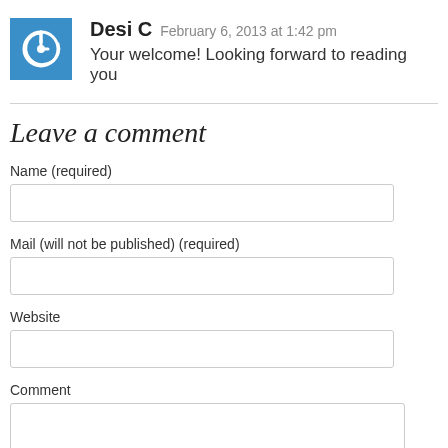Desi C  February 6, 2013 at 1:42 pm
Your welcome! Looking forward to reading you
Leave a comment
Name (required)
Mail (will not be published) (required)
Website
Comment